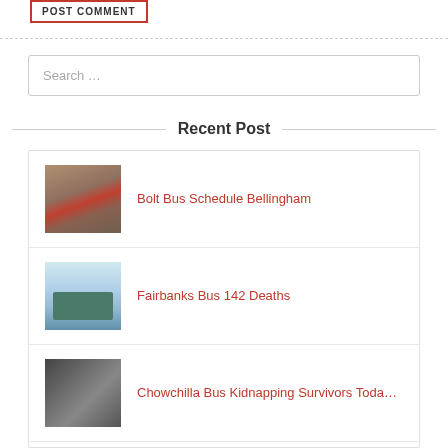POST COMMENT
Search …
Recent Post
Bolt Bus Schedule Bellingham
Fairbanks Bus 142 Deaths
Chowchilla Bus Kidnapping Survivors Toda…
(partial fourth item)